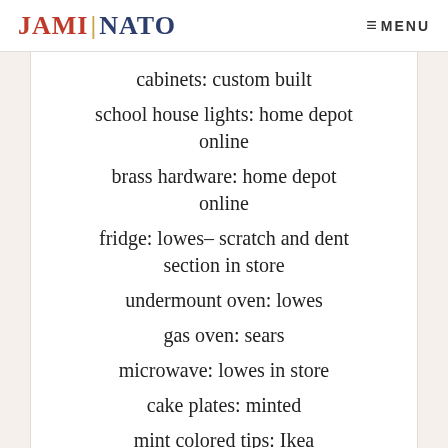JAMI NATO  MENU
cabinets: custom built
school house lights: home depot online
brass hardware: home depot online
fridge: lowes– scratch and dent section in store
undermount oven: lowes
gas oven: sears
microwave: lowes in store
cake plates: minted
mint colored tips: Ikea